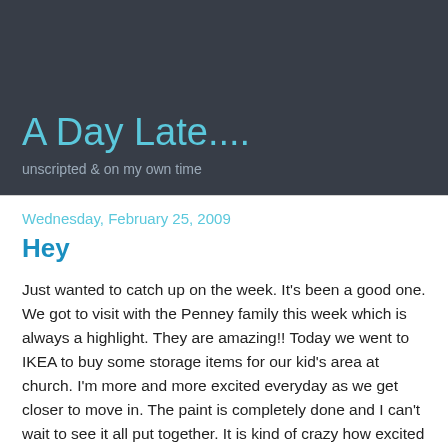A Day Late....
unscripted & on my own time
Wednesday, February 25, 2009
Hey
Just wanted to catch up on the week. It's been a good one. We got to visit with the Penney family this week which is always a highlight. They are amazing!! Today we went to IKEA to buy some storage items for our kid's area at church. I'm more and more excited everyday as we get closer to move in. The paint is completely done and I can't wait to see it all put together. It is kind of crazy how excited we are about this building, it just seals the deal for us and it's